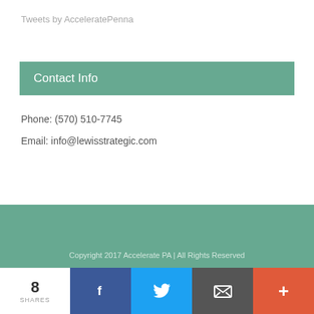Tweets by AcceleratePenna
Contact Info
Phone: (570) 510-7745
Email: info@lewisstrategic.com
Copyright 2017 Accelerate PA | All Rights Reserved
8 SHARES